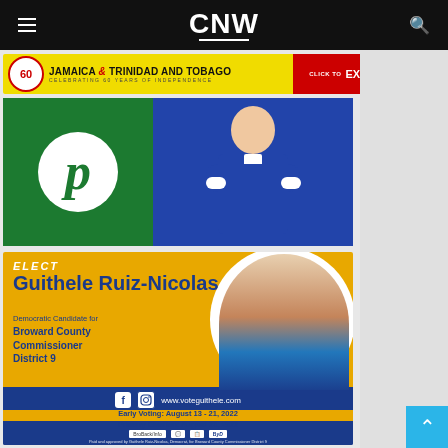CNW
[Figure (advertisement): Jamaica & Trinidad and Tobago — Celebrating 60 Years of Independence banner ad with red Explore button]
[Figure (advertisement): Publix advertisement showing green logo with stylized P and person in blue suit]
[Figure (advertisement): Elect Guithele Ruiz-Nicolas political ad — Democratic Candidate for Broward County Commissioner District 9 — Early Voting August 13-21 2022, Primary Election August 23 2022 — www.voteguithele.com — Paid and approved by Guithele Ruiz-Nicolas, Democrat, for Broward County Commissioner District 9]